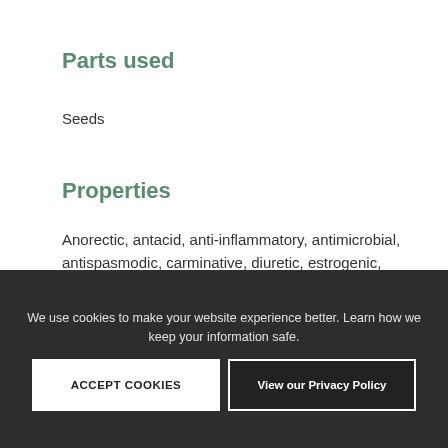Parts used
Seeds
Properties
Anorectic, antacid, anti-inflammatory, antimicrobial, antispasmodic, carminative, diuretic, estrogenic, expectorant, galactagogue, sedative (children), stimulant
Read more
We use cookies to make your website experience better. Learn how we keep your information safe.
ACCEPT COOKIES
View our Privacy Policy